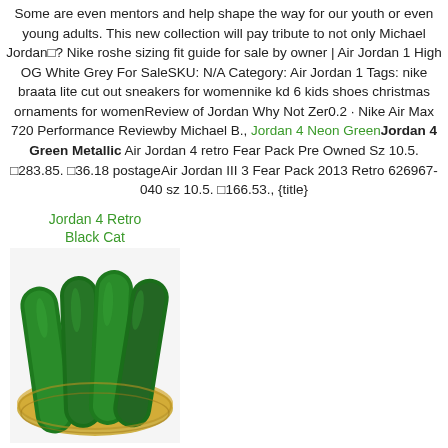Some are even mentors and help shape the way for our youth or even young adults. This new collection will pay tribute to not only Michael Jordan□? Nike roshe sizing fit guide for sale by owner | Air Jordan 1 High OG White Grey For SaleSKU: N/A Category: Air Jordan 1 Tags: nike braata lite cut out sneakers for womennike kd 6 kids shoes christmas ornaments for womenReview of Jordan Why Not Zer0.2 · Nike Air Max 720 Performance Reviewby Michael B., Jordan 4 Neon GreenJordan 4 Green Metallic Air Jordan 4 retro Fear Pack Pre Owned Sz 10.5. □283.85. □36.18 postageAir Jordan III 3 Fear Pack 2013 Retro 626967-040 sz 10.5. □166.53., {title}
Jordan 4 Retro Black Cat
[Figure (photo): Photo of green cucumbers/zucchinis arranged on a yellow/tan woven basket or plate, on a white background. The vegetables are dark green and elongated.]